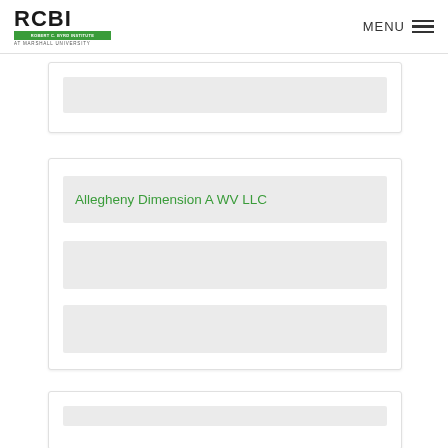RCBI - Robert C. Byrd Institute at Marshall University | MENU
[Figure (other): Partially visible card with gray placeholder content block]
Allegheny Dimension A WV LLC
[Figure (other): Card containing Allegheny Dimension A WV LLC title and two gray placeholder content blocks]
[Figure (other): Partially visible card at bottom of page with gray placeholder content block]